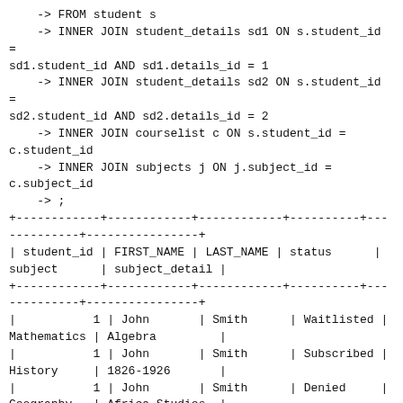-> FROM student s
    -> INNER JOIN student_details sd1 ON s.student_id = sd1.student_id AND sd1.details_id = 1
    -> INNER JOIN student_details sd2 ON s.student_id = sd2.student_id AND sd2.details_id = 2
    -> INNER JOIN courselist c ON s.student_id = c.student_id
    -> INNER JOIN subjects j ON j.subject_id = c.subject_id
    -> ;
+------------+------------+------------+----------+---
----------+----------------+
| student_id | FIRST_NAME | LAST_NAME | status      | subject      | subject_detail |
+------------+------------+------------+----------+---
----------+----------------+
|           1 | John       | Smith      | Waitlisted | Mathematics | Algebra         |
|           1 | John       | Smith      | Subscribed | History     | 1826-1926       |
|           1 | John       | Smith      | Denied     | Geography   | Africa Studies  |